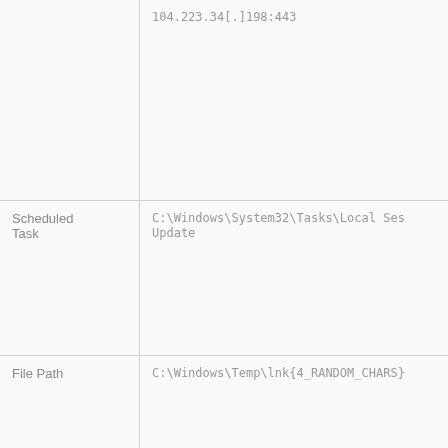| Type | Value |
| --- | --- |
|  | 104.223.34[.]198:443 |
| Scheduled Task | C:\Windows\System32\Tasks\Local Ses...
Update |
| File Path | C:\Windows\Temp\lnk{4_RANDOM_CHARS} |
|  | C:\Windows\Temp\lnk<4_RANDOM_NUMS_CH |